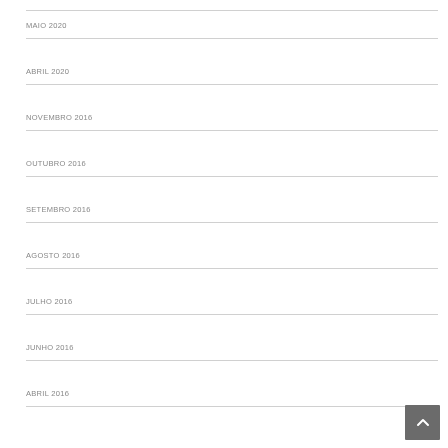MAIO 2020
ABRIL 2020
NOVEMBRO 2016
OUTUBRO 2016
SETEMBRO 2016
AGOSTO 2016
JULHO 2016
JUNHO 2016
ABRIL 2016